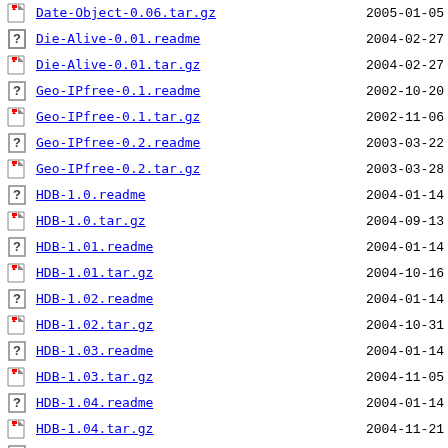Date-Object-0.06.tar.gz  2005-01-05
Die-Alive-0.01.readme  2004-02-27
Die-Alive-0.01.tar.gz  2004-02-27
Geo-IPfree-0.1.readme  2002-10-20
Geo-IPfree-0.1.tar.gz  2002-11-06
Geo-IPfree-0.2.readme  2003-03-22
Geo-IPfree-0.2.tar.gz  2003-03-28
HDB-1.0.readme  2004-01-14
HDB-1.0.tar.gz  2004-09-13
HDB-1.01.readme  2004-01-14
HDB-1.01.tar.gz  2004-10-16
HDB-1.02.readme  2004-01-14
HDB-1.02.tar.gz  2004-10-31
HDB-1.03.readme  2004-01-14
HDB-1.03.tar.gz  2004-11-05
HDB-1.04.readme  2004-01-14
HDB-1.04.tar.gz  2004-11-21
HDB-1.05.meta  2005-02-